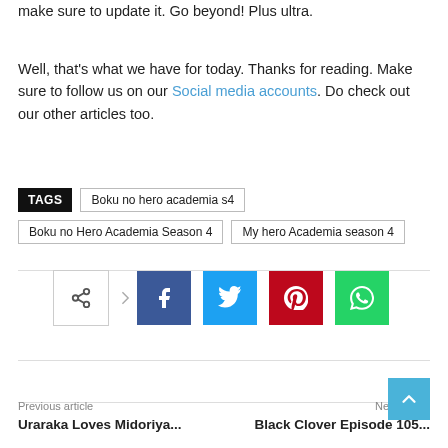make sure to update it. Go beyond! Plus ultra.
Well, that's what we have for today. Thanks for reading. Make sure to follow us on our Social media accounts. Do check out our other articles too.
TAGS   Boku no hero academia s4   Boku no Hero Academia Season 4   My hero Academia season 4
[Figure (infographic): Social share buttons: share icon (outline), Facebook (blue), Twitter (light blue), Pinterest (red), WhatsApp (green)]
Previous article   Next article
Uraraka Loves Midoriya   Black Clover Episode 105